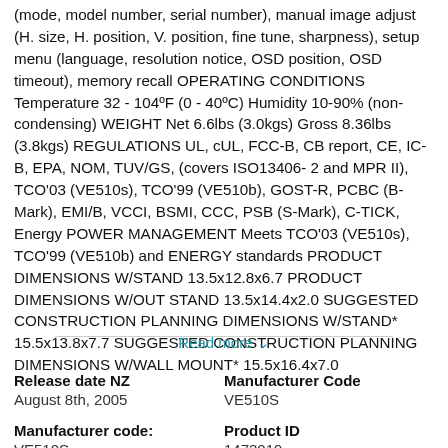(mode, model number, serial number), manual image adjust (H. size, H. position, V. position, fine tune, sharpness), setup menu (language, resolution notice, OSD position, OSD timeout), memory recall OPERATING CONDITIONS Temperature 32 - 104ºF (0 - 40ºC) Humidity 10-90% (non-condensing) WEIGHT Net 6.6lbs (3.0kgs) Gross 8.36lbs (3.8kgs) REGULATIONS UL, cUL, FCC-B, CB report, CE, IC-B, EPA, NOM, TUV/GS, (covers ISO13406- 2 and MPR II), TCO'03 (VE510s), TCO'99 (VE510b), GOST-R, PCBC (B-Mark), EMI/B, VCCI, BSMI, CCC, PSB (S-Mark), C-TICK, Energy POWER MANAGEMENT Meets TCO'03 (VE510s), TCO'99 (VE510b) and ENERGY standards PRODUCT DIMENSIONS W/STAND 13.5x12.8x6.7 PRODUCT DIMENSIONS W/OUT STAND 13.5x14.4x2.0 SUGGESTED CONSTRUCTION PLANNING DIMENSIONS W/STAND* 15.5x13.8x7.7 SUGGESTED CONSTRUCTION PLANNING DIMENSIONS W/WALL MOUNT* 15.5x16.4x7.0
Read more ∨
| Release date NZ | Manufacturer Code |
| August 8th, 2005 | VE510S |
| Manufacturer code: | Product ID |
| VE510S | 1473019 |